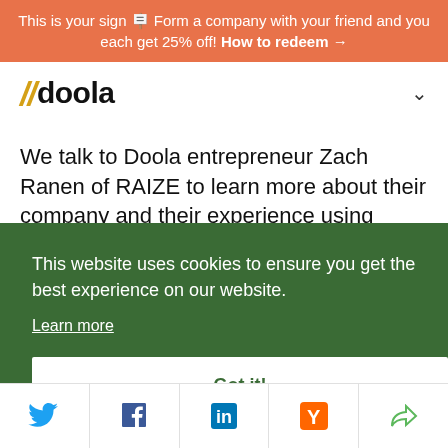This is your sign 🪧 Form a company with your friend and you each get 25% off! How to redeem →
[Figure (logo): doola logo with double slash in gold and doola in black bold text]
We talk to Doola entrepreneur Zach Ranen of RAIZE to learn more about their company and their experience using Doola...
This website uses cookies to ensure you get the best experience on our website. Learn more  Got it!
[Figure (infographic): Social share bar with Twitter, Facebook, LinkedIn, Hacker News (Y), and generic share icons]